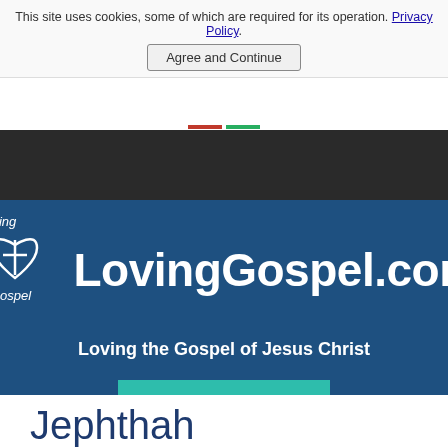This site uses cookies, some of which are required for its operation. Privacy Policy.
Agree and Continue
[Figure (logo): LovingGospel.com logo with heart and cross icon, white on blue background]
LovingGospel.com
Loving the Gospel of Jesus Christ
MENU
Jephthah